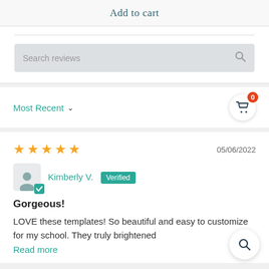Add to cart
Search reviews
Most Recent
05/06/2022
Kimberly V. Verified
Gorgeous!
LOVE these templates! So beautiful and easy to customize for my school. They truly brightened
Read more